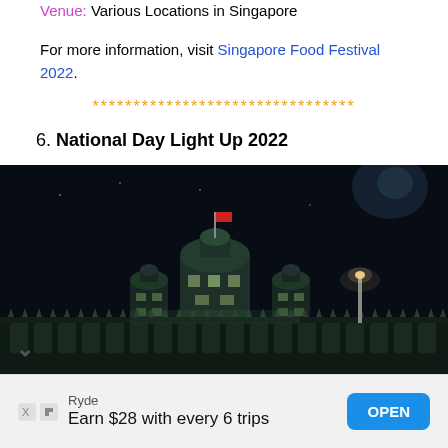Venue: Various Locations in Singapore
For more information, visit Singapore Food Festival 2022.
********************************
6. National Day Light Up 2022
[Figure (photo): Night photograph of a colonial-style building illuminated with lights, dark sky background with a street lamp visible]
Ryde
Earn $28 with every 6 trips
OPEN